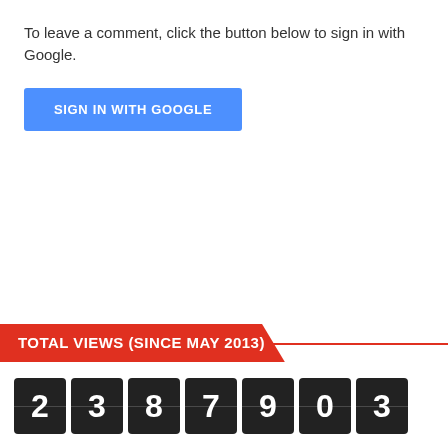To leave a comment, click the button below to sign in with Google.
[Figure (screenshot): Blue 'SIGN IN WITH GOOGLE' button]
TOTAL VIEWS (SINCE MAY 2013)
[Figure (infographic): Odometer-style counter showing 2387903]